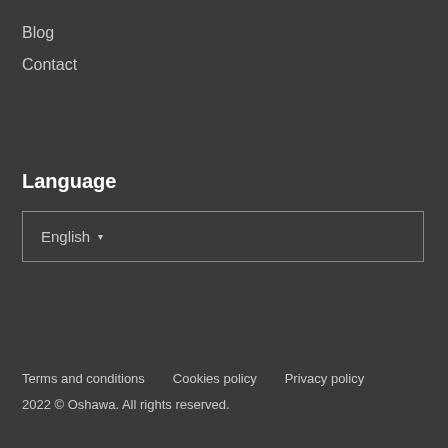Blog
Contact
Language
English ▾
Terms and conditions   Cookies policy   Privacy policy
2022 © Oshawa. All rights reserved.